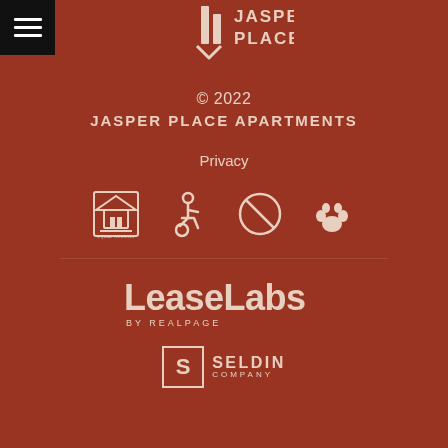[Figure (logo): Jasper Place Apartments logo — stylized building/arrow icon with text JASPER PLACE]
≡ (hamburger menu button)
© 2022
JASPER PLACE APARTMENTS
Privacy
[Figure (infographic): Row of four compliance icons: Equal Housing Opportunity, Wheelchair Accessible, No symbol, and Paw print (pet friendly)]
[Figure (logo): LeaseLabs by RealPage logo in white text]
[Figure (logo): Seldin Company logo — S in a square box with SELDIN COMPANY text]